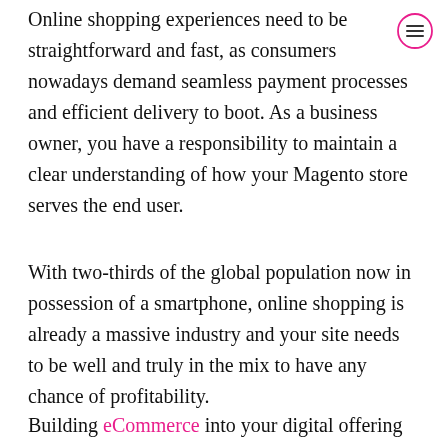Online shopping experiences need to be straightforward and fast, as consumers nowadays demand seamless payment processes and efficient delivery to boot. As a business owner, you have a responsibility to maintain a clear understanding of how your Magento store serves the end user.
With two-thirds of the global population now in possession of a smartphone, online shopping is already a massive industry and your site needs to be well and truly in the mix to have any chance of profitability.
Building eCommerce into your digital offering